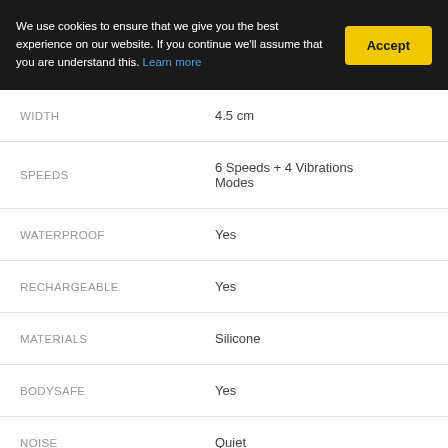We use cookies to ensure that we give you the best experience on our website. If you continue we'll assume that you are understand this. Learn more
| Attribute | Value |
| --- | --- |
| WIDTH | 4.5 cm |
| SPEEDS | 6 Speeds + 4 Vibrations Modes |
| WATERPROOF | Yes |
| RECHARGEABLE | Yes |
| MATERIALS | Silicone |
| BODYSAFE | Yes |
| NOISE | Quiet |
| BRAND | ROMP by Womanizer |